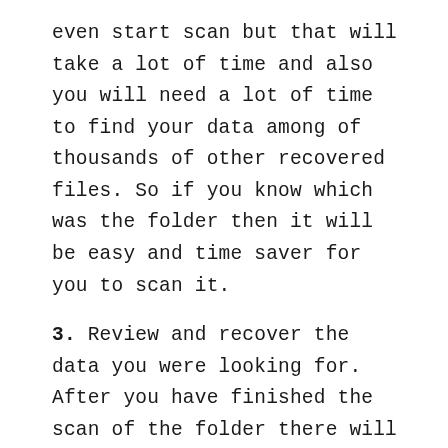even start scan but that will take a lot of time and also you will need a lot of time to find your data among of thousands of other recovered files. So if you know which was the folder then it will be easy and time saver for you to scan it.
3. Review and recover the data you were looking for. After you have finished the scan of the folder there will be a lot of files that have been deleted recently or lately you can check the files which you want to recover and also deselect the files which you do not want to recover that will only recover the files that you need in your system and will delete other junk files automatically.
What are the steps you need to follow to recover